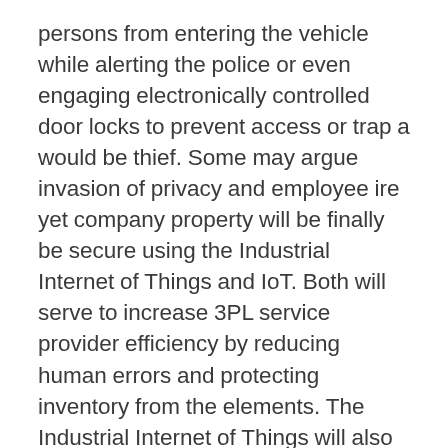persons from entering the vehicle while alerting the police or even engaging electronically controlled door locks to prevent access or trap a would be thief. Some may argue invasion of privacy and employee ire yet company property will be finally be secure using the Industrial Internet of Things and IoT. Both will serve to increase 3PL service provider efficiency by reducing human errors and protecting inventory from the elements. The Industrial Internet of Things will also render the best routes according to weather conditions and safety while upping accountability and responsiveness of employees. Those factors alone will make the process safer and